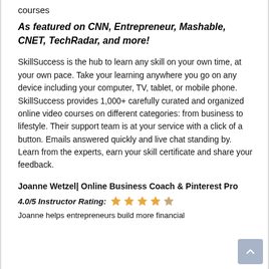courses
As featured on CNN, Entrepreneur, Mashable, CNET, TechRadar, and more!
SkillSuccess is the hub to learn any skill on your own time, at your own pace. Take your learning anywhere you go on any device including your computer, TV, tablet, or mobile phone. SkillSuccess provides 1,000+ carefully curated and organized online video courses on different categories: from business to lifestyle. Their support team is at your service with a click of a button. Emails answered quickly and live chat standing by. Learn from the experts, earn your skill certificate and share your feedback.
Joanne Wetzel| Online Business Coach & Pinterest Pro
4.0/5 Instructor Rating: ★ ★ ★ ★ ☆
Joanne helps entrepreneurs build more financial